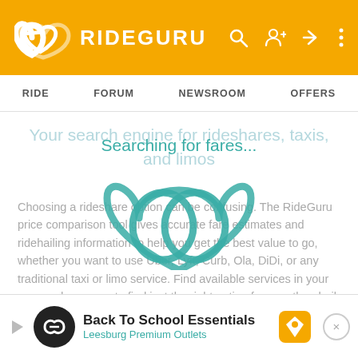RIDEGURU — navigation header with logo, search, profile, login, menu icons
RIDE   FORUM   NEWSROOM   OFFERS
Your search engine for rideshares, taxis, and limos
[Figure (logo): RideGuru teal interlocking rings logo with 'Searching for fares...' overlay text, loading state]
Choosing a rideshare option can be confusing. The RideGuru price comparison tool gives accurate fare estimates and ridehailing information to help you get the best value to go, whether you want to use Uber, Lyft, Curb, Ola, DiDi, or any traditional taxi or limo service. Find available services in your area and compare to find just the right option for you, then hail your ride right from RideGuru.
To begin, enter the starting and ending locations of the ride you need in the fields above.
Still have questions? Post a message in Ask a Ride Guru, and see what
[Figure (infographic): Advertisement banner: Back To School Essentials - Leesburg Premium Outlets with play button, infinity logo, and map navigation icon]